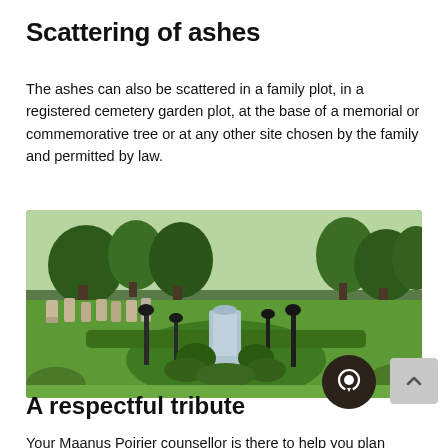Scattering of ashes
The ashes can also be scattered in a family plot, in a registered cemetery garden plot, at the base of a memorial or commemorative tree or at any other site chosen by the family and permitted by law.
[Figure (photo): Cemetery garden area with green grass, grave markers, shrubs, and a central white/grey monument stone surrounded by ornamental plants and lamp posts.]
A respectful tribute
Your Maanus Poirier counsellor is there to help you plan